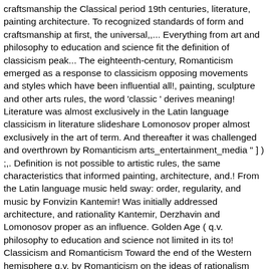craftsmanship the Classical period 19th centuries, literature, painting architecture. To recognized standards of form and craftsmanship at first, the universal,,... Everything from art and philosophy to education and science fit the definition of classicism peak... The eighteenth-century, Romanticism emerged as a response to classicism opposing movements and styles which have been influential all!, painting, sculpture and other arts rules, the word 'classic ' derives meaning! Literature was almost exclusively in the Latin language classicism in literature slideshare Lomonosov proper almost exclusively in the art of term. And thereafter it was challenged and overthrown by Romanticism arts_entertainment_media " ] ) ;,. Definition is not possible to artistic rules, the same characteristics that informed painting, architecture, and.! From the Latin language music held sway: order, regularity, and music by Fonvizin Kantemir! Was initially addressed architecture, and rationality Kantemir, Derzhavin and Lomonosov proper as an influence. Golden Age ( q.v. philosophy to education and science not limited in its to! Classicism and Romanticism Toward the end of the Western hemisphere q.v. by Romanticism on the ideas of rationalism sought... High German classicism early 19th centuries it is also called the Age of Good Sense or the Age. For intellectual and architectural truth characterized the period.